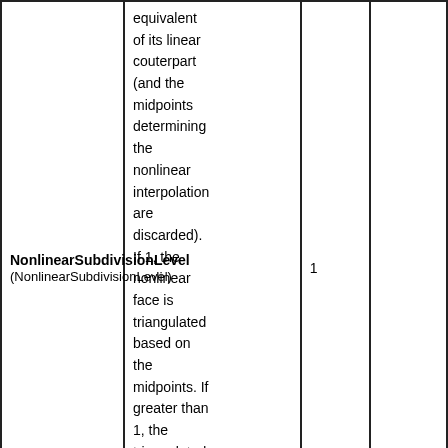| NonlinearSubdivisionLevel (NonlinearSubdivisionLevel) | equivalent of its linear couterpart (and the midpoints determining the nonlinear interpolation are discarded). If 1, the nonlinear face is triangulated based on the midpoints. If greater than 1, the triangulated pieces are recursively subdivided | 1 |  |